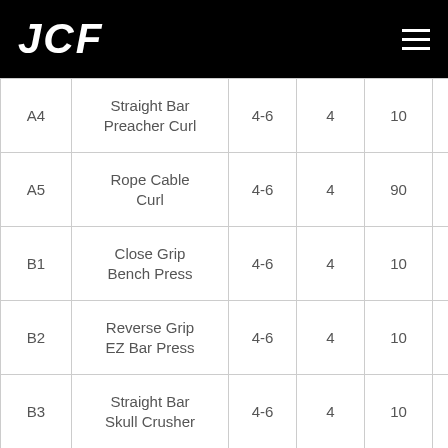JCF
| A4 | Straight Bar Preacher Curl | 4-6 | 4 | 10 | 31X0 |
| A5 | Rope Cable Curl | 4-6 | 4 | 90 | 31X0 |
| B1 | Close Grip Bench Press | 4-6 | 4 | 10 | 31X0 |
| B2 | Reverse Grip EZ Bar Press | 4-6 | 4 | 10 | 31X0 |
| B3 | Straight Bar Skull Crusher | 4-6 | 4 | 10 | 31X0 |